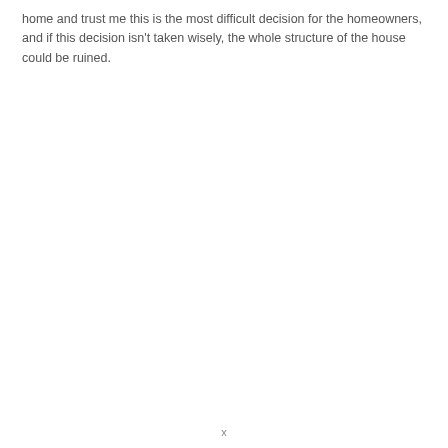home and trust me this is the most difficult decision for the homeowners, and if this decision isn't taken wisely, the whole structure of the house could be ruined.
x